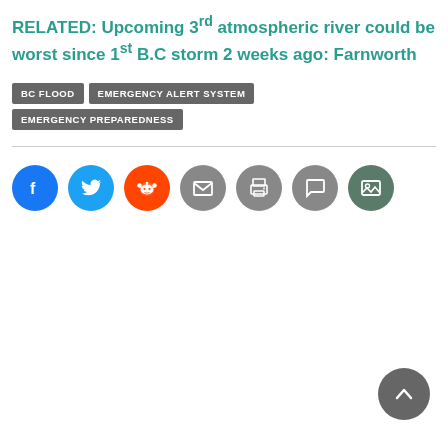RELATED: Upcoming 3rd atmospheric river could be worst since 1st B.C storm 2 weeks ago: Farnworth
BC FLOOD
EMERGENCY ALERT SYSTEM
EMERGENCY PREPAREDNESS
[Figure (infographic): Social sharing buttons row: Facebook (blue circle with f icon), Twitter (light blue circle with bird icon), Reddit (orange circle with alien icon), Email (grey circle with envelope icon), Print (grey circle with printer icon), Comment (grey circle with speech bubble icon), Photo gallery (dark green-grey circle with image icon). Also a back-to-top button (dark grey circle with upward chevron) in the bottom right.]